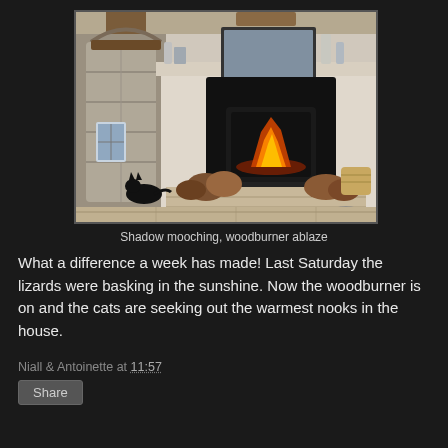[Figure (photo): Interior photograph of a rustic cottage living room with a lit wood-burning stove/fireplace set in a stone surround. Wooden beams on the ceiling, a mirror above the mantle, logs stacked on a tiled hearth, a black cat visible in the background, and a wicker basket to the right.]
Shadow mooching, woodburner ablaze
What a difference a week has made! Last Saturday the lizards were basking in the sunshine. Now the woodburner is on and the cats are seeking out the warmest nooks in the house.
Niall & Antoinette at 11:57
Share